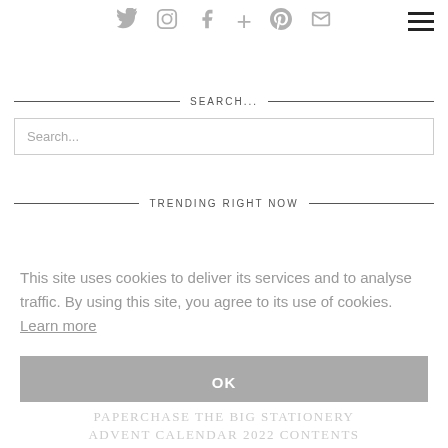[Figure (other): Social media icons row: Twitter, Instagram, Facebook, Google Plus, Pinterest, Email icons in grey]
[Figure (other): Hamburger menu icon (three horizontal black lines) in top right corner]
SEARCH...
Search...
TRENDING RIGHT NOW
This site uses cookies to deliver its services and to analyse traffic. By using this site, you agree to its use of cookies. Learn more
OK
PAPERCHASE THE BIG STATIONERY ADVENT CALENDAR 2022 CONTENTS